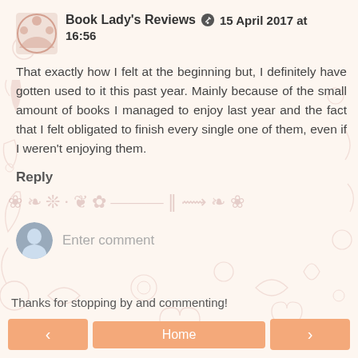[Figure (illustration): Decorative floral background pattern in light pink/rose tones covering the entire page]
Book Lady's Reviews  15 April 2017 at 16:56
That exactly how I felt at the beginning but, I definitely have gotten used to it this past year. Mainly because of the small amount of books I managed to enjoy last year and the fact that I felt obligated to finish every single one of them, even if I weren't enjoying them.
Reply
Enter comment
Thanks for stopping by and commenting!
Home